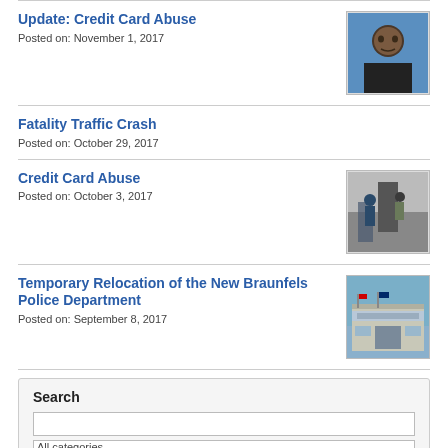Update: Credit Card Abuse
Posted on: November 1, 2017
[Figure (photo): Mugshot of a man against a blue background]
Fatality Traffic Crash
Posted on: October 29, 2017
Credit Card Abuse
Posted on: October 3, 2017
[Figure (photo): Photo of people near a machine or equipment in a store]
Temporary Relocation of the New Braunfels Police Department
Posted on: September 8, 2017
[Figure (photo): Photo of a police department building exterior]
Search
All categories